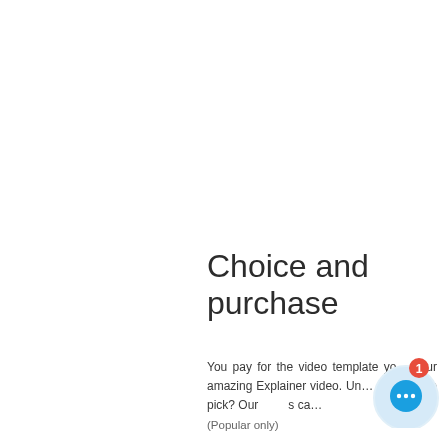Choice and purchase
You pay for the video template you… your amazing Explainer video. Un… template to pick? Our … s ca… (Popular only)
[Figure (other): Chat support widget: circular button with blue speech bubble icon containing three dots, and a red badge with the number 1]